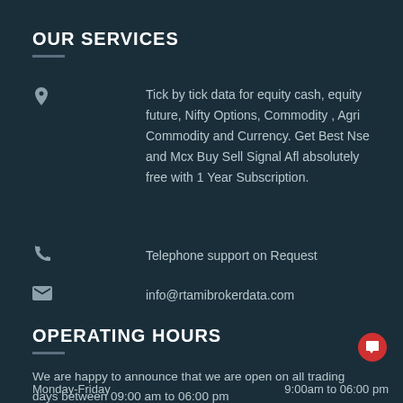OUR SERVICES
Tick by tick data for equity cash, equity future, Nifty Options, Commodity , Agri Commodity and Currency. Get Best Nse and Mcx Buy Sell Signal Afl absolutely free with 1 Year Subscription.
Telephone support on Request
info@rtamibrokerdata.com
OPERATING HOURS
We are happy to announce that we are open on all trading days between 09:00 am to 06:00 pm
Monday-Friday	9:00am to 06:00 pm